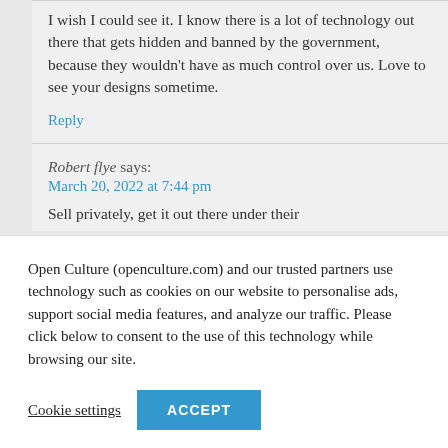I wish I could see it. I know there is a lot of technology out there that gets hidden and banned by the government, because they wouldn't have as much control over us. Love to see your designs sometime.
Reply
Robert flye says:
March 20, 2022 at 7:44 pm
Sell privately, get it out there under their
Open Culture (openculture.com) and our trusted partners use technology such as cookies on our website to personalise ads, support social media features, and analyze our traffic. Please click below to consent to the use of this technology while browsing our site.
Cookie settings
ACCEPT